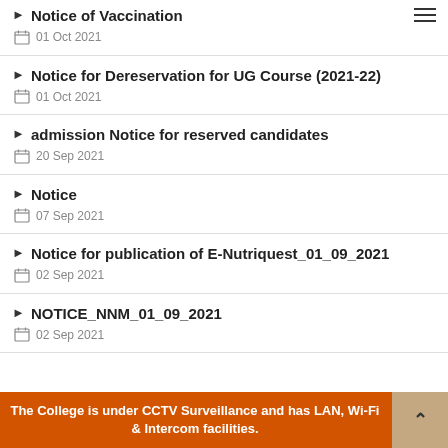Notice of Vaccination — 01 Oct 2021
Notice for Dereservation for UG Course (2021-22) — 01 Oct 2021
admission Notice for reserved candidates — 20 Sep 2021
Notice — 07 Sep 2021
Notice for publication of E-Nutriquest_01_09_2021 — 02 Sep 2021
NOTICE_NNM_01_09_2021 — 02 Sep 2021
The College is under CCTV Surveillance and has LAN, Wi-Fi & Intercom facilities.